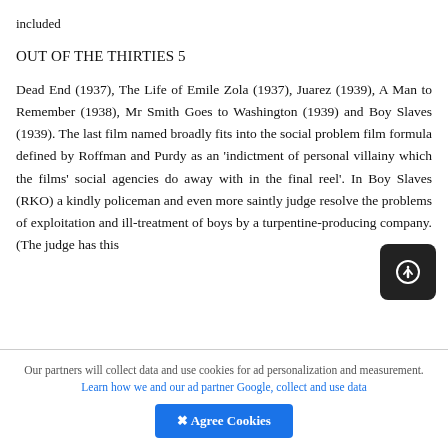included
OUT OF THE THIRTIES 5
Dead End (1937), The Life of Emile Zola (1937), Juarez (1939), A Man to Remember (1938), Mr Smith Goes to Washington (1939) and Boy Slaves (1939). The last film named broadly fits into the social problem film formula defined by Roffman and Purdy as an 'indictment of personal villainy which the films' social agencies do away with in the final reel'. In Boy Slaves (RKO) a kindly policeman and even more saintly judge resolve the problems of exploitation and ill-treatment of boys by a turpentine-producing company. (The judge has this